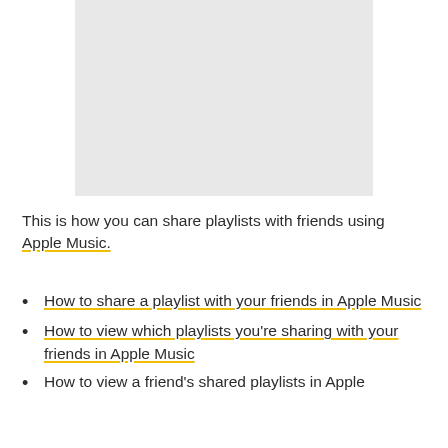[Figure (other): Gray placeholder image/screenshot area]
This is how you can share playlists with friends using Apple Music.
How to share a playlist with your friends in Apple Music
How to view which playlists you're sharing with your friends in Apple Music
How to view a friend's shared playlists in Apple